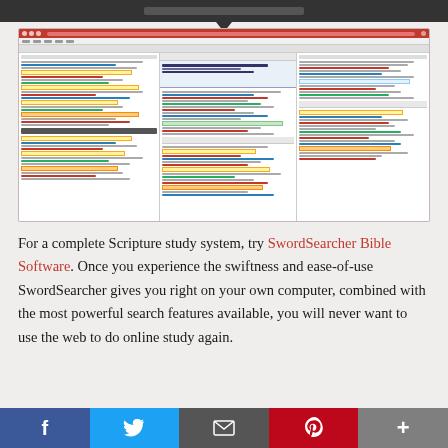[Figure (screenshot): Screenshot of SwordSearcher Bible Software showing multiple panels with Bible study tools, search results, commentaries, and highlighted scripture references.]
For a complete Scripture study system, try SwordSearcher Bible Software. Once you experience the swiftness and ease-of-use SwordSearcher gives you right on your own computer, combined with the most powerful search features available, you will never want to use the web to do online study again.
f  [twitter]  [email]  p  +